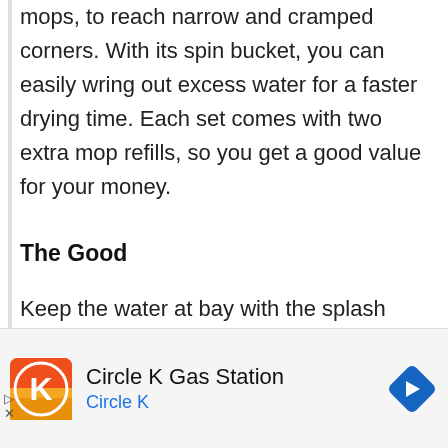mops, to reach narrow and cramped corners. With its spin bucket, you can easily wring out excess water for a faster drying time. Each set comes with two extra mop refills, so you get a good value for your money.
The Good
Keep the water at bay with the splash guard feature of the O-Cedar Easy Wring Spin Mop and Bucket System. It minimizes spills and overflows when spinning. With a
[Figure (infographic): Advertisement bar for Circle K Gas Station. Contains Circle K logo (orange/red square with K), text 'Circle K Gas Station' and 'Circle K' in blue, and a blue navigation diamond arrow icon on the right.]